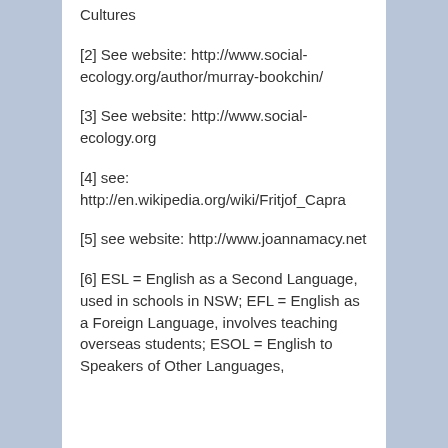Cultures
[2] See website: http://www.social-ecology.org/author/murray-bookchin/
[3] See website: http://www.social-ecology.org
[4] see: http://en.wikipedia.org/wiki/Fritjof_Capra
[5] see website: http://www.joannamacy.net
[6] ESL = English as a Second Language, used in schools in NSW; EFL = English as a Foreign Language, involves teaching overseas students; ESOL = English to Speakers of Other Languages,